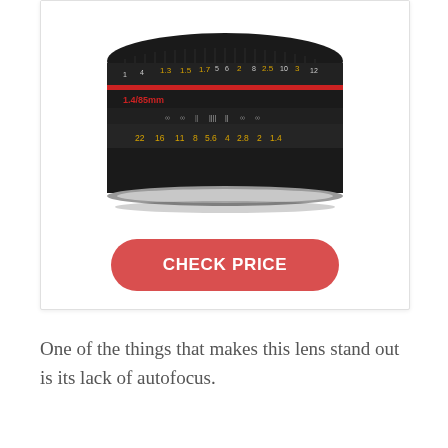[Figure (photo): A black camera lens (85mm f/1.4) shown from above, with focus and aperture rings visible. Red ring and markings including '1.4/85mm', aperture values '22 16 11 8 5.6 4 2.8 2 1.4' visible on the lens body.]
CHECK PRICE
One of the things that makes this lens stand out is its lack of autofocus.